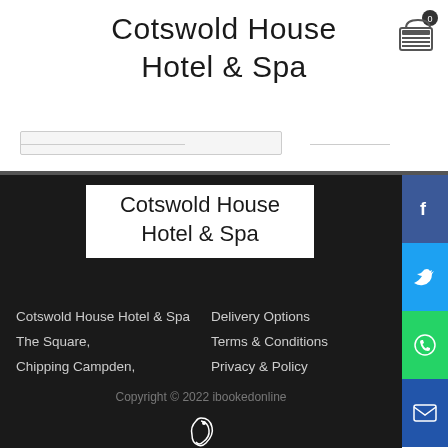Cotswold House Hotel & Spa
[Figure (logo): Shopping cart icon with badge showing 0]
[Figure (logo): Cotswold House Hotel & Spa logo in white box]
Cotswold House Hotel & Spa
The Square,
Chipping Campden,
Gloucestershire,
UK,
GL55 6AN,
Tel : 01386 840330.
Delivery Options
Terms & Conditions
Privacy & Policy
Copyright © 2022 ibookedonline
[Figure (logo): ibookedonline small logo mark]